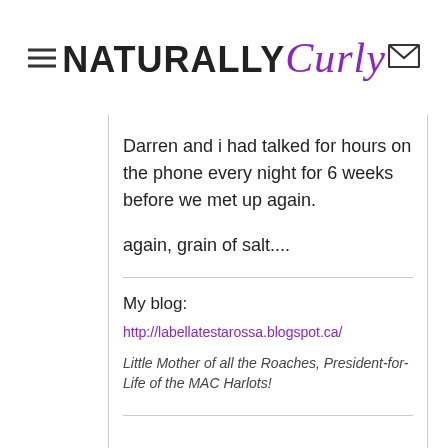NATURALLY Curly
Darren and i had talked for hours on the phone every night for 6 weeks before we met up again.
again, grain of salt....
My blog:
http://labellatestarossa.blogspot.ca/
Little Mother of all the Roaches, President-for-Life of the MAC Harlots!